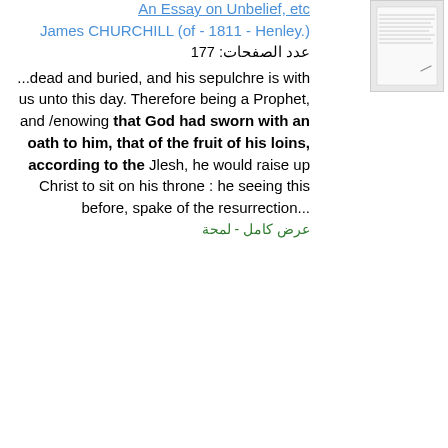An Essay on Unbelief, etc
James CHURCHILL (of - 1811 - Henley.)
عدد الصفحات: 177
...dead and buried, and his sepulchre is with us unto this day. Therefore being a Prophet, and /enowing that God had sworn with an oath to him, that of the fruit of his loins, according to the Jlesh, he would raise up Christ to sit on his throne : he seeing this before, spake of the resurrection...
عرض كامل - لمحة
[Figure (photo): Thumbnail image of a document page]